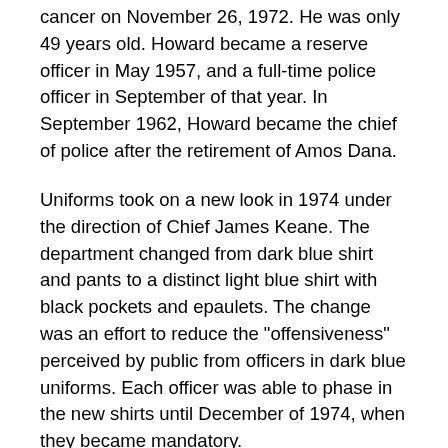cancer on November 26, 1972. He was only 49 years old. Howard became a reserve officer in May 1957, and a full-time police officer in September of that year. In September 1962, Howard became the chief of police after the retirement of Amos Dana.
Uniforms took on a new look in 1974 under the direction of Chief James Keane. The department changed from dark blue shirt and pants to a distinct light blue shirt with black pockets and epaulets. The change was an effort to reduce the "offensiveness" perceived by public from officers in dark blue uniforms. Each officer was able to phase in the new shirts until December of 1974, when they became mandatory.
The police department was in shock when they learned that their chief of police had committed suicide on December 1, 1980. Faced with terminal cancer, Chief Herbert Lewis Eike took his own life in his Grover City home. He was born on May 11, 1926 in Burt, Iowa and